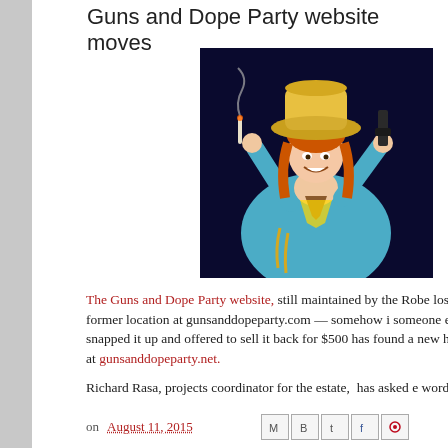Guns and Dope Party website moves
[Figure (illustration): Vintage illustration of a smiling cowgirl in a blue shirt and yellow hat, holding a smoking gun in one hand and a pistol in the other, against a dark navy background.]
The Guns and Dope Party website, still maintained by the Robe lost its former location at gunsanddopeparty.com — somehow i someone else snapped it up and offered to sell it back for $500 has found a new home, at gunsanddopeparty.net.
Richard Rasa, projects coordinator for the estate,  has asked e word.
on August 11, 2015